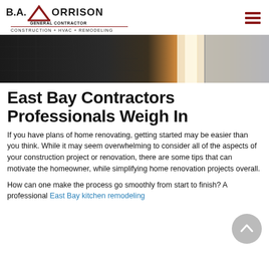B.A. Morrison General Contractor — Construction + HVAC + Remodeling
[Figure (photo): Interior floor photo showing dark tile flooring with warm light beam across it and a bright doorway or window opening in the background]
East Bay Contractors Professionals Weigh In
If you have plans of home renovating, getting started may be easier than you think. While it may seem overwhelming to consider all of the aspects of your construction project or renovation, there are some tips that can motivate the homeowner, while simplifying home renovation projects overall.
How can one make the process go smoothly from start to finish? A professional East Bay kitchen remodeling